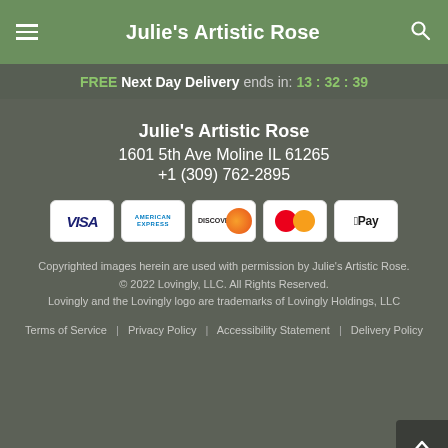Julie's Artistic Rose
FREE Next Day Delivery ends in: 13 : 32 : 39
Julie's Artistic Rose
1601 5th Ave Moline IL 61265
+1 (309) 762-2895
[Figure (other): Payment method icons: Visa, American Express, Discover, Mastercard, Apple Pay]
Copyrighted images herein are used with permission by Julie's Artistic Rose.
© 2022 Lovingly, LLC. All Rights Reserved.
Lovingly and the Lovingly logo are trademarks of Lovingly Holdings, LLC
Terms of Service | Privacy Policy | Accessibility Statement | Delivery Policy